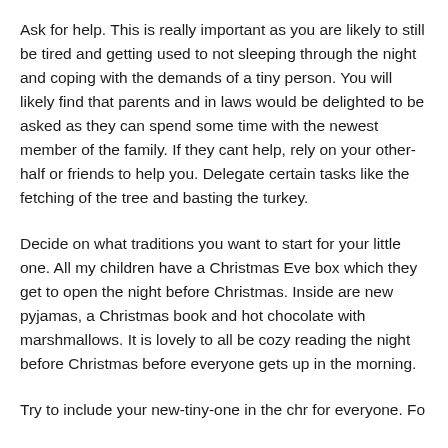Ask for help. This is really important as you are likely to still be tired and getting used to not sleeping through the night and coping with the demands of a tiny person. You will likely find that parents and in laws would be delighted to be asked as they can spend some time with the newest member of the family. If they cant help, rely on your other-half or friends to help you. Delegate certain tasks like the fetching of the tree and basting the turkey.
Decide on what traditions you want to start for your little one. All my children have a Christmas Eve box which they get to open the night before Christmas. Inside are new pyjamas, a Christmas book and hot chocolate with marshmallows. It is lovely to all be cozy reading the night before Christmas before everyone gets up in the morning.
Try to include your new-tiny-one in the chr for everyone. For...